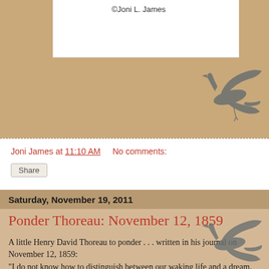©Joni L. James
[Figure (illustration): Silhouette of a heron in flight, grey, upper right area]
Joni James at 11:10 AM   No comments:
Share
Saturday, November 19, 2011
Ponder Thoreau: November 12, 1859
A little Henry David Thoreau to ponder . . . written in his journal on November 12, 1859: "I do not know how to distinguish between our waking life and a dream. Are we not always living the life that we imagine we are?"
[Figure (illustration): Silhouette of a heron in flight, grey, lower right area]